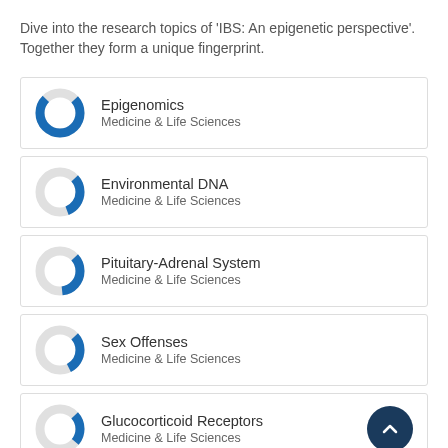Dive into the research topics of 'IBS: An epigenetic perspective'. Together they form a unique fingerprint.
Epigenomics — Medicine & Life Sciences
Environmental DNA — Medicine & Life Sciences
Pituitary-Adrenal System — Medicine & Life Sciences
Sex Offenses — Medicine & Life Sciences
Glucocorticoid Receptors — Medicine & Life Sciences
Low Birth Weight Infant